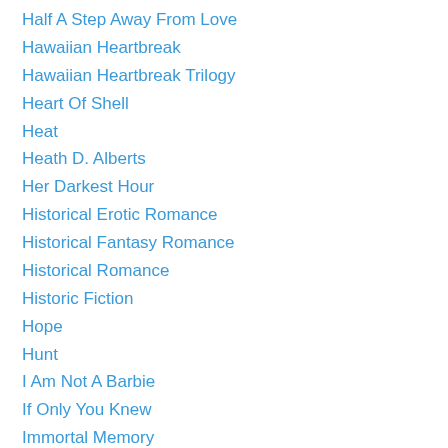Half A Step Away From Love
Hawaiian Heartbreak
Hawaiian Heartbreak Trilogy
Heart Of Shell
Heat
Heath D. Alberts
Her Darkest Hour
Historical Erotic Romance
Historical Fantasy Romance
Historical Romance
Historic Fiction
Hope
Hunt
I Am Not A Barbie
If Only You Knew
Immortal Memory
Immortal Savior Series
In Loving You
Interview
Interviews By Dante
Isabel Curtis